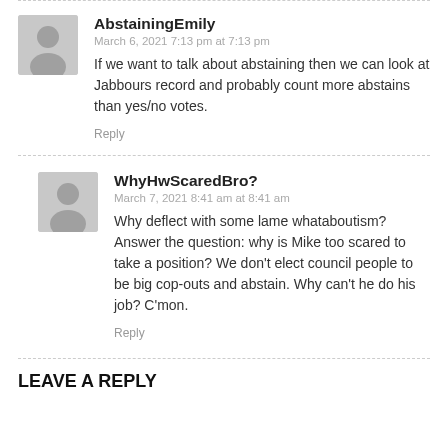AbstainingEmily
March 6, 2021 7:13 pm at 7:13 pm
If we want to talk about abstaining then we can look at Jabbours record and probably count more abstains than yes/no votes.
Reply
WhyHwScaredBro?
March 7, 2021 8:41 am at 8:41 am
Why deflect with some lame whataboutism? Answer the question: why is Mike too scared to take a position? We don't elect council people to be big cop-outs and abstain. Why can't he do his job? C'mon.
Reply
LEAVE A REPLY